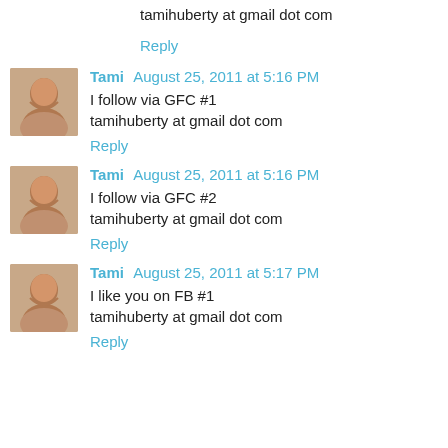tamihuberty at gmail dot com
Reply
Tami August 25, 2011 at 5:16 PM
I follow via GFC #1
tamihuberty at gmail dot com
Reply
Tami August 25, 2011 at 5:16 PM
I follow via GFC #2
tamihuberty at gmail dot com
Reply
Tami August 25, 2011 at 5:17 PM
I like you on FB #1
tamihuberty at gmail dot com
Reply